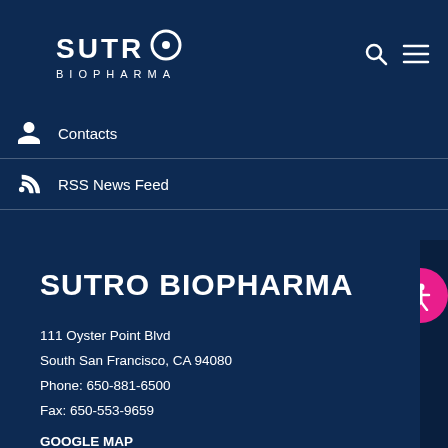[Figure (logo): Sutro Biopharma logo in white on dark navy background, with search and hamburger menu icons on the right]
Contacts
RSS News Feed
SUTRO BIOPHARMA
111 Oyster Point Blvd
South San Francisco, CA 94080
Phone: 650-881-6500
Fax: 650-553-9659
GOOGLE MAP